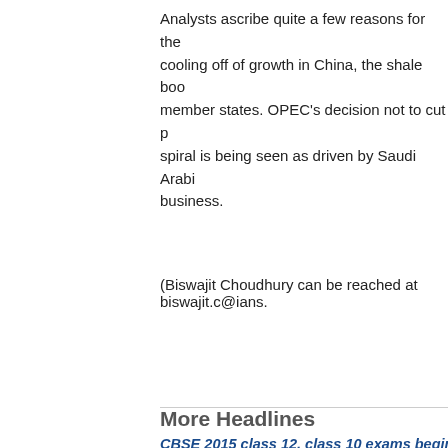Analysts ascribe quite a few reasons for the cooling off of growth in China, the shale boom member states. OPEC's decision not to cut p spiral is being seen as driven by Saudi Arabi business.
(Biswajit Choudhury can be reached at biswajit.c@ians.
More Headlines
CBSE 2015 class 12, class 10 exams begin March 2
Office of controversial magazine attacked in Paris, 1
Mahatma Gandhi an integral part of our country: So
How rotavirus causes infection in kids
Fatty acids can help treat arthritis, leukemia
Ban Ki-moon. Kerry to promote sustainable develop
Six lifestyle choices can help women save hearts
Owaisi kickstarts MIM campaign for Muslim reserva
Three Earth-like planets up there: NASA
Karnataka politician honours donkeys for hard work